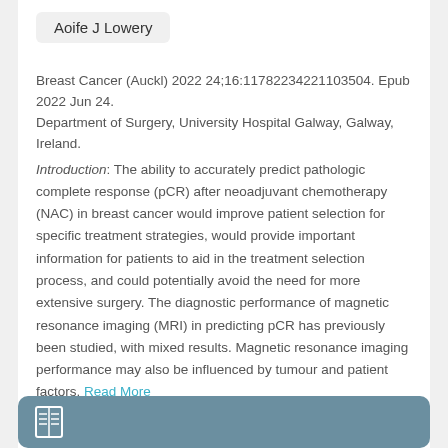Aoife J Lowery
Breast Cancer (Auckl) 2022 24;16:11782234221103504. Epub 2022 Jun 24.
Department of Surgery, University Hospital Galway, Galway, Ireland.
Introduction: The ability to accurately predict pathologic complete response (pCR) after neoadjuvant chemotherapy (NAC) in breast cancer would improve patient selection for specific treatment strategies, would provide important information for patients to aid in the treatment selection process, and could potentially avoid the need for more extensive surgery. The diagnostic performance of magnetic resonance imaging (MRI) in predicting pCR has previously been studied, with mixed results. Magnetic resonance imaging performance may also be influenced by tumour and patient factors. Read More
[Figure (other): Dark teal/grey bottom bar with a book icon]